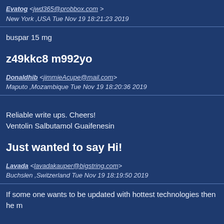Evatog <jwd365@probbox.com> New York ,USA Tue Nov 19 18:21:23 2019
buspar 15 mg
z49kkc8 m992yo
Donaldhib <jimmieAcupe@mail.com> Maputo ,Mozambique Tue Nov 19 18:20:36 2019
Reliable write ups. Cheers!
Ventolin Salbutamol Guaifenesin
Just wanted to say Hi!
Lavada <lavadakauper@bigstring.com> Buchslen ,Switzerland Tue Nov 19 18:19:50 2019
If some one wants to be updated with hottest technologies then he m